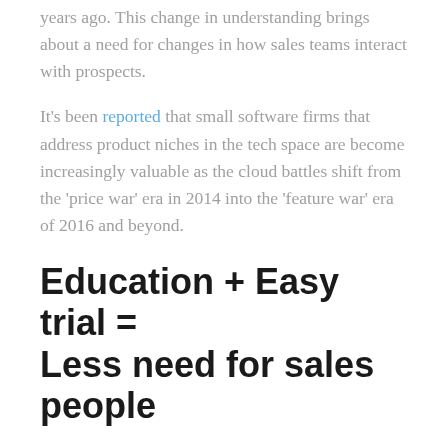years ago. This change in understanding brings about a need for changes in how sales teams interact with prospects.
It's been reported that small software firms that address product niches in the tech space are become increasingly valuable as the cloud battles shift from the 'price war' era in 2014 into the 'feature war' era of 2016 and beyond.
Education + Easy trial = Less need for sales people
When you consider that buyers are now far more educated than ever and cloud software vendors make it easy to try-before-you-buy, it